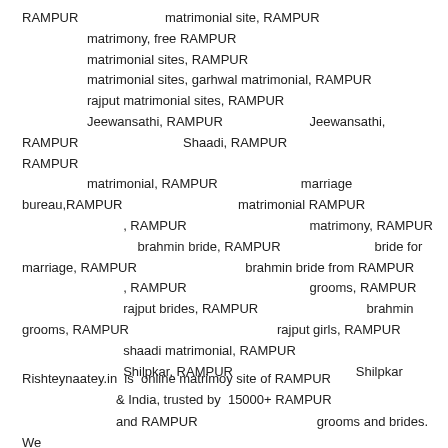RAMPUR matrimonial site, RAMPUR matrimony, free RAMPUR matrimonial sites, RAMPUR matrimonial sites, garhwal matrimonial, RAMPUR rajput matrimonial sites, RAMPUR Jeewansathi, RAMPUR Jeewansathi, RAMPUR Shaadi, RAMPUR RAMPUR matrimonial, RAMPUR marriage bureau,RAMPUR matrimonial RAMPUR , RAMPUR matrimony, RAMPUR brahmin bride, RAMPUR bride for marriage, RAMPUR brahmin bride from RAMPUR , RAMPUR grooms, RAMPUR rajput brides, RAMPUR brahmin grooms, RAMPUR rajput girls, RAMPUR shaadi matrimonial, RAMPUR Shilpkar, RAMPUR Shilpkar
Rishteynaatey.in is online matrimoy site of RAMPUR & India, trusted by 15000+ RAMPUR and RAMPUR grooms and brides. We